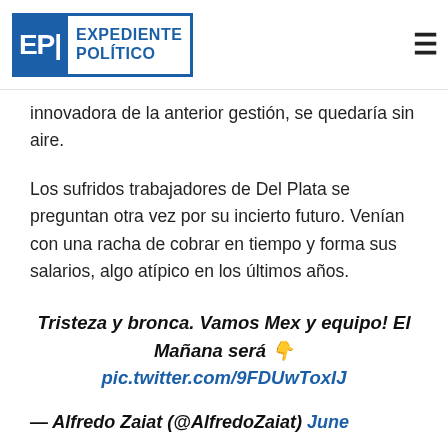EXPEDIENTE POLÍTICO
innovadora de la anterior gestión, se quedaría sin aire.
Los sufridos trabajadores de Del Plata se preguntan otra vez por su incierto futuro. Venían con una racha de cobrar en tiempo y forma sus salarios, algo atípico en los últimos años.
Tristeza y bronca. Vamos Mex y equipo! El Mañana será 👇 pic.twitter.com/9FDUwToxIJ
— Alfredo Zaiat (@AlfredoZaiat) June